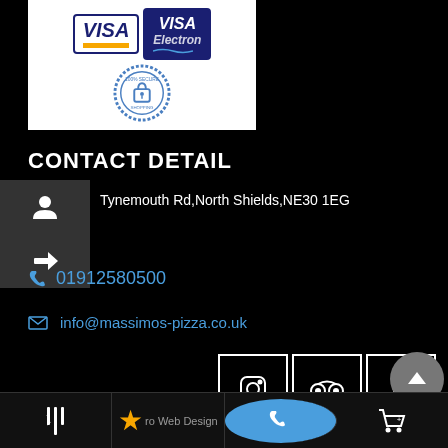[Figure (logo): Payment logos: Visa card, Visa Electron card, and a 100% Secure padlock badge on white background]
CONTACT DETAIL
Tynemouth Rd, North Shields, NE30 1EG
01912580500
info@massimos-pizza.co.uk
[Figure (other): Three social media icon boxes: Instagram, TripAdvisor, Facebook]
ro Web Design
Bottom navigation bar with menu, star/favourites, phone, and cart icons